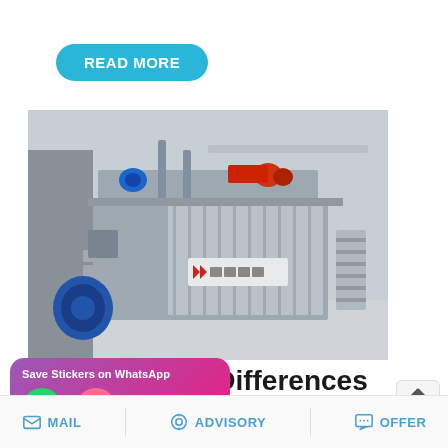READ MORE
[Figure (photo): Industrial CFB or PC boiler unit installed outdoors, showing a large grey rectangular boiler body with Chinese branding, blue motor/fan assembly on the left, metal stairs on the right, pipes and equipment on top, set in a factory or plant environment.]
What Are The Differences Between CFB Boiler And PC
Save Stickers on WhatsApp
MAIL   ADVISORY   OFFER